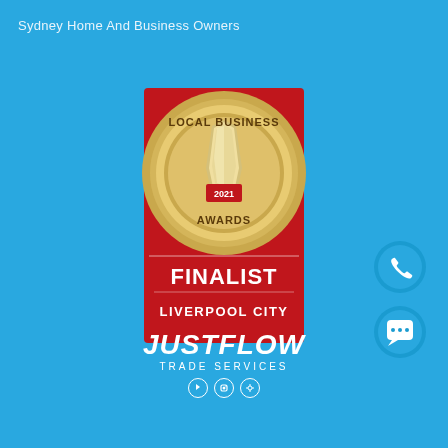Sydney Home And Business Owners
[Figure (logo): Local Business Awards 2021 Finalist Liverpool City badge - red rectangular background with gold circular medal showing a trophy and text LOCAL BUSINESS AWARDS 2021, below that FINALIST in white bold text and LIVERPOOL CITY in white text]
[Figure (logo): JustFlow Trade Services logo with social media icons (Facebook, Instagram, asterisk/settings)]
[Figure (infographic): Blue circular phone button icon on the right side]
[Figure (infographic): Blue circular chat/message button icon on the right side below phone button]